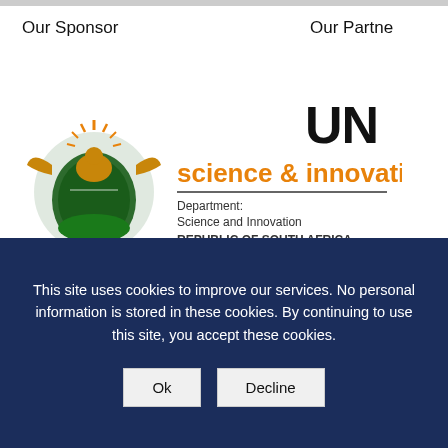Our Sponsor
Our Partner
[Figure (logo): Department of Science and Innovation, Republic of South Africa coat of arms logo with text: science & innovation, Department: Science and Innovation, REPUBLIC OF SOUTH AFRICA]
[Figure (logo): Partial UN logo text showing 'UN']
[Figure (logo): ICE - Inter-institutional Development logo (partially visible)]
This site uses cookies to improve our services. No personal information is stored in these cookies. By continuing to use this site, you accept these cookies.
Ok
Decline